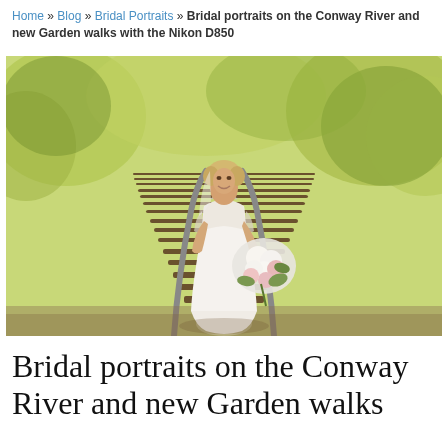Home » Blog » Bridal Portraits » Bridal portraits on the Conway River and new Garden walks with the Nikon D850
[Figure (photo): A bride in a white sleeveless lace wedding gown standing on railroad tracks, holding a bouquet of white and pink flowers with greenery. Background is blurred yellow-green foliage and trees in warm sunlight.]
Bridal portraits on the Conway River and new Garden walks